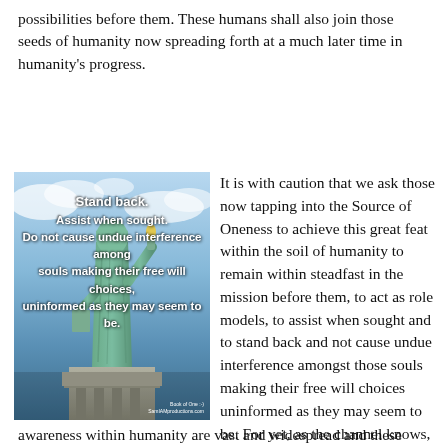possibilities before them. These humans shall also join those seeds of humanity now spreading forth at a much later time in humanity's progress.
[Figure (illustration): Image of the Statue of Liberty against a cloudy blue sky, with bold white text overlay reading: 'Stand back. Assist when sought. Do not cause undue interference among souls making their free will choices, uninformed as they may seem to be.' A watermark reads 'Book of One :-)' and 'SamIAMproductions.com']
It is with caution that we ask those now tapping into the Source of Oneness to achieve this great feat within the soil of humanity to remain within steadfast in the mission before them, to act as role models, to assist when sought and to stand back and not cause undue interference amongst those souls making their free will choices uninformed as they may seem to be. For yet, as the channel knows, the states of awareness within humanity are vast and widespread and these